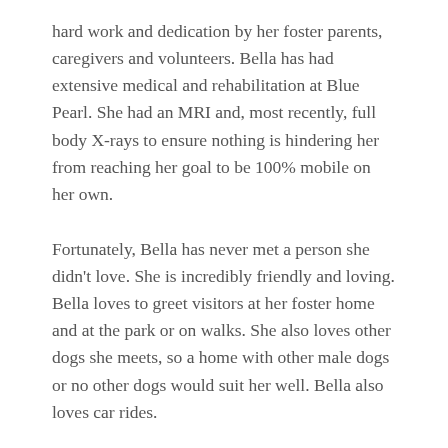hard work and dedication by her foster parents, caregivers and volunteers. Bella has had extensive medical and rehabilitation at Blue Pearl. She had an MRI and, most recently, full body X-rays to ensure nothing is hindering her from reaching her goal to be 100% mobile on her own.
Fortunately, Bella has never met a person she didn't love. She is incredibly friendly and loving. Bella loves to greet visitors at her foster home and at the park or on walks. She also loves other dogs she meets, so a home with other male dogs or no other dogs would suit her well. Bella also loves car rides.
Bella is at the point where she can stand on all four legs and is upright on all four legs for walking for short periods (as seen in the videos). She will need a dedicated home to continue with her down this path